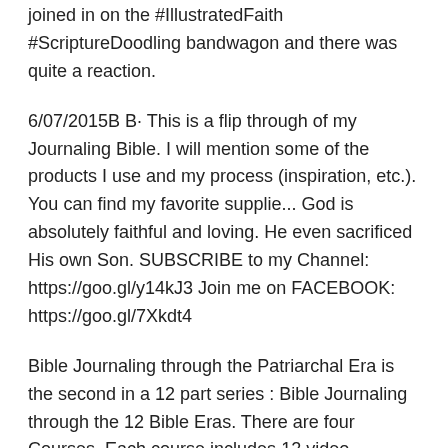joined in on the #IllustratedFaith #ScriptureDoodling bandwagon and there was quite a reaction.
6/07/2015B B· This is a flip through of my Journaling Bible. I will mention some of the products I use and my process (inspiration, etc.). You can find my favorite supplie... God is absolutely faithful and loving. He even sacrificed His own Son. SUBSCRIBE to my Channel: https://goo.gl/y14kJ3 Join me on FACEBOOK: https://goo.gl/7Xkdt4
Bible Journaling through the Patriarchal Era is the second in a 12 part series : Bible Journaling through the 12 Bible Eras. There are four Courses. Each course includes 12 video lessons, printables, and Q&A sessions in the Facebook Group with the author Robin Sampson. the art of bible journaling more than 60 step by Sun, 09 Dec 2018 06:25:00 GMT the art of bible journaling pdf - Living an ART filled